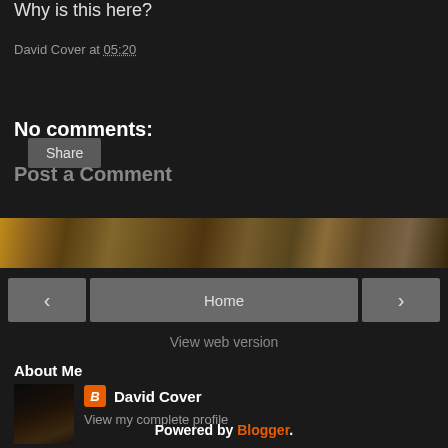Why is this here?
David Cover at 05:20
Share
No comments:
Post a Comment
[Figure (photo): Horizontal strip of dark architectural/urban nighttime photos]
< Home >
View web version
About Me
David Cover
View my complete profile
Powered by Blogger.